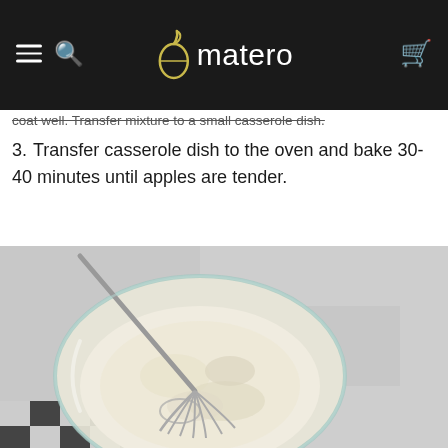omatero
coat well. Transfer mixture to a small casserole dish.
3. Transfer casserole dish to the oven and bake 30-40 minutes until apples are tender.
[Figure (photo): A glass mixing bowl with flour and a metal whisk, placed on a gray textured surface with a black and white checkered cloth underneath.]